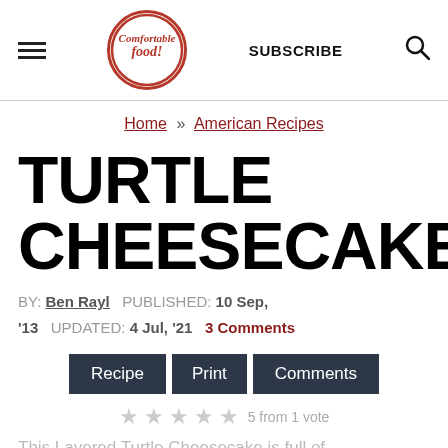Comfortable food! — SUBSCRIBE
Home » American Recipes
TURTLE CHEESECAKE
BY: Ben Rayl  PUBLISHED: 10 Sep, '13  UPDATED: 4 Jul, '21  3 Comments
Recipe  Print  Comments
5 from 1 vote
This Layered Turtle Cheesecake is full of